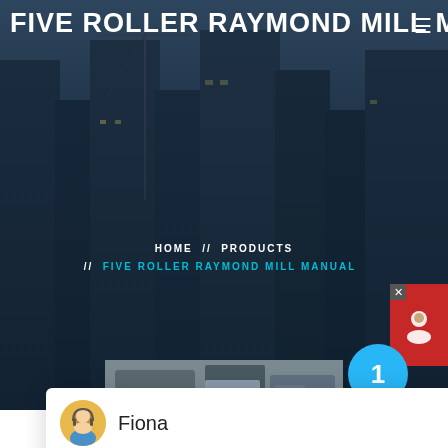FIVE ROLLER RAYMOND MILL MA
HOME // PRODUCTS
// FIVE ROLLER RAYMOND MILL MANUAL
Fiona
Hello, I am Fiona, I am very glad to talk with you!
1
[Figure (photo): Industrial milling machine equipment inside a factory or processing plant]